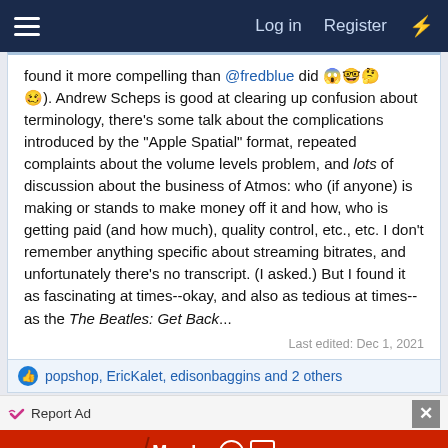Log in  Register
found it more compelling than @fredblue did 😱🤓🤔 🥴). Andrew Scheps is good at clearing up confusion about terminology, there's some talk about the complications introduced by the "Apple Spatial" format, repeated complaints about the volume levels problem, and lots of discussion about the business of Atmos: who (if anyone) is making or stands to make money off it and how, who is getting paid (and how much), quality control, etc., etc. I don't remember anything specific about streaming bitrates, and unfortunately there's no transcript. (I asked.) But I found it as fascinating at times--okay, and also as tedious at times--as the The Beatles: Get Back...
Last edited: Dec 1, 2021
popshop, EricKalet, edisonbaggins and 2 others
[Figure (other): BitLife advertisement banner: red background with BitLife logo in yellow italic bold text, white sperm/tadpole icon, 'Murder Do it!' text with blue pill button, and help/close icons]